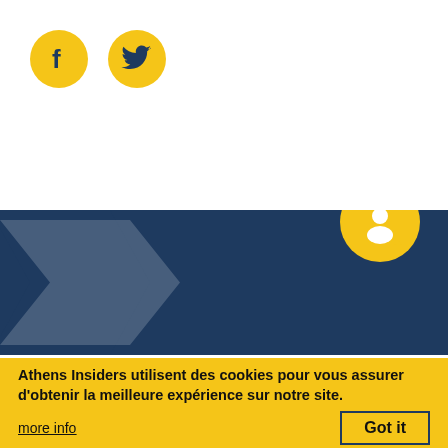[Figure (logo): Facebook social media icon — yellow circle with dark 'f' letter]
[Figure (logo): Twitter social media icon — yellow circle with dark bird logo]
[Figure (photo): Dark blue textured background section with a large arrow/chevron shape pointing right, and a yellow circle with a chat/user icon in the upper right corner]
Athens Insiders utilisent des cookies pour vous assurer d'obtenir la meilleure expérience sur notre site.
more info
Got it